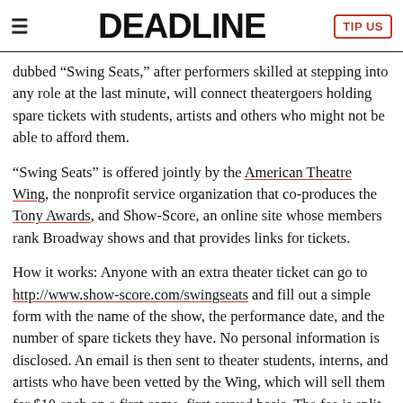DEADLINE | TIP US
dubbed “Swing Seats,” after performers skilled at stepping into any role at the last minute, will connect theatergoers holding spare tickets with students, artists and others who might not be able to afford them.
“Swing Seats” is offered jointly by the American Theatre Wing, the nonprofit service organization that co-produces the Tony Awards, and Show-Score, an online site whose members rank Broadway shows and that provides links for tickets.
How it works: Anyone with an extra theater ticket can go to http://www.show-score.com/swingseats and fill out a simple form with the name of the show, the performance date, and the number of spare tickets they have. No personal information is disclosed. An email is then sent to theater students, interns, and artists who have been vetted by the Wing, which will sell them for $10 each on a first come, first served basis. The fee is split between the two